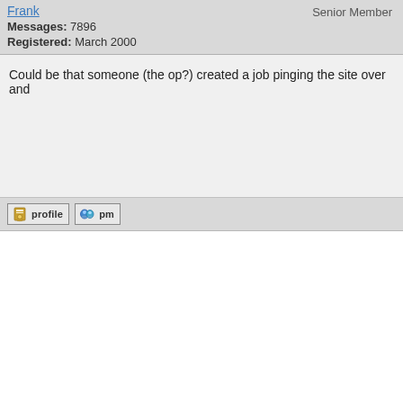Frank | Senior Member
Messages: 7896
Registered: March 2000
Could be that someone (the op?) created a job pinging the site over and
[Figure (screenshot): Profile button with small icon]
[Figure (screenshot): PM button with small icon]